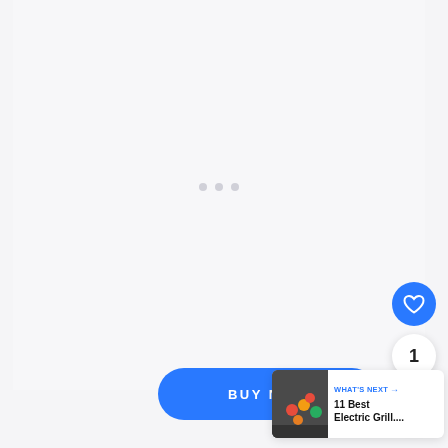[Figure (screenshot): Light gray loading/placeholder area with three small dots indicating loading state]
[Figure (illustration): Blue circular heart/favorite button]
1
[Figure (illustration): White circular share button with share icon]
BUY NOW
WHAT'S NEXT → 11 Best Electric Grill....